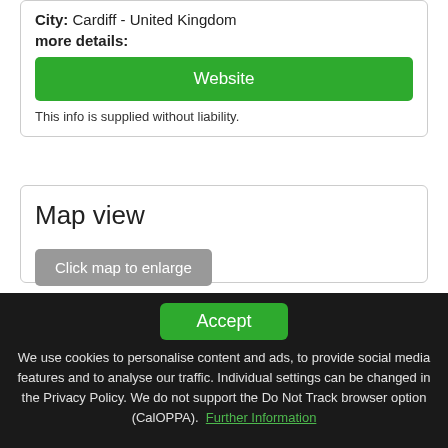City: Cardiff - United Kingdom
more details:
Website
This info is supplied without liability.
Map view
Click map to enlarge
Accept
We use cookies to personalise content and ads, to provide social media features and to analyse our traffic. Individual settings can be changed in the Privacy Policy. We do not support the Do Not Track browser option (CalOPPA). Further Information